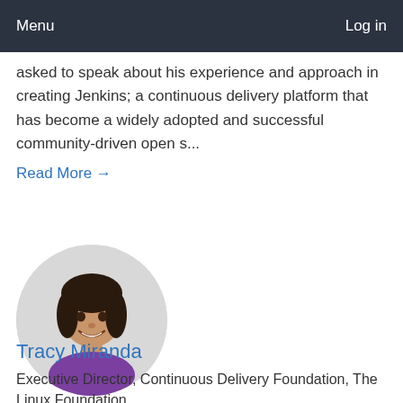Menu   Log in
asked to speak about his experience and approach in creating Jenkins; a continuous delivery platform that has become a widely adopted and successful community-driven open s...
Read More →
[Figure (photo): Circular portrait photo of Tracy Miranda, a woman with dark hair wearing a purple top, smiling, on a light grey background.]
Tracy Miranda
Executive Director, Continuous Delivery Foundation, The Linux Foundation
Tracy Miranda is the executive director